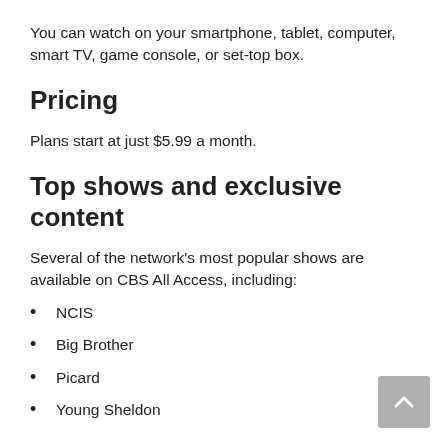You can watch on your smartphone, tablet, computer, smart TV, game console, or set-top box.
Pricing
Plans start at just $5.99 a month.
Top shows and exclusive content
Several of the network's most popular shows are available on CBS All Access, including:
NCIS
Big Brother
Picard
Young Sheldon